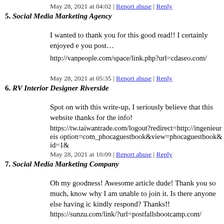May 28, 2021 at 04:02 | Report abuse | Reply
5. Social Media Marketing Agency
I wanted to thank you for this good read!! I certainly enjoyed e you post…
http://vanpeople.com/space/link.php?url=cdaseo.com/
May 28, 2021 at 05:35 | Report abuse | Reply
6. RV Interior Designer Riverside
Spot on with this write-up, I seriously believe that this website thanks for the info!
https://tw.taiwantrade.com/logout?redirect=http://ingenieureis option=com_phocaguestbook&view=phocaguestbook&id=1&
May 28, 2021 at 10:09 | Report abuse | Reply
7. Social Media Marketing Company
Oh my goodness! Awesome article dude! Thank you so much, know why I am unable to join it. Is there anyone else having ic kindly respond? Thanks!!
https://sunzu.com/link/?url=postfallsbootcamp.com/